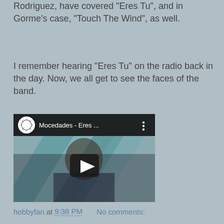Rodriguez, have covered "Eres Tu", and in Gorme's case, "Touch The Wind", as well.
I remember hearing "Eres Tu" on the radio back in the day. Now, we all get to see the faces of the band.
[Figure (screenshot): YouTube video embed showing Mocedades - Eres Tu music video, with a woman in a striped jacket, play button overlay and YouTube controls]
hobbyfan at 9:38 PM    No comments:
MONDAY, OCTOBER 3, 2016
What Might've Been: The Wizard of